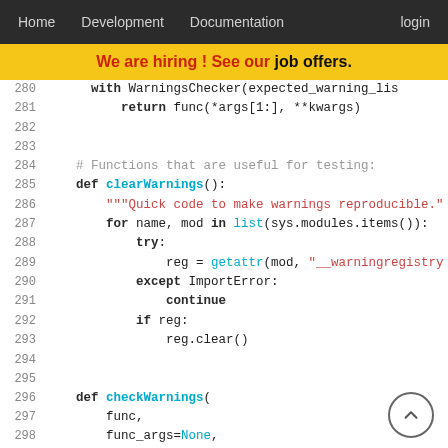Home  Development  Documentation  login
We are hiring! See our job offers.
280    with WarningsChecker(expected_warning_lis
281        return func(*args[1:], **kwargs)
282
283
284    # Functions that are useful for testing:
285    def clearWarnings():
286        """Quick code to make warnings reproducible."
287        for name, mod in list(sys.modules.items()):
288            try:
289                reg = getattr(mod, "__warningregistry
290            except ImportError:
291                continue
292            if reg:
293                reg.clear()
294
295
296    def checkWarnings(
297        func,
298        func_args=None,
299        func_kwargs=None,